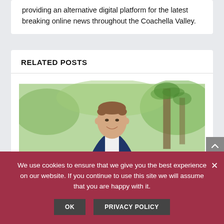providing an alternative digital platform for the latest breaking online news throughout the Coachella Valley.
RELATED POSTS
[Figure (photo): A smiling man in a navy blue suit jacket and white shirt, standing outdoors with palm trees and greenery in the background.]
We use cookies to ensure that we give you the best experience on our website. If you continue to use this site we will assume that you are happy with it.